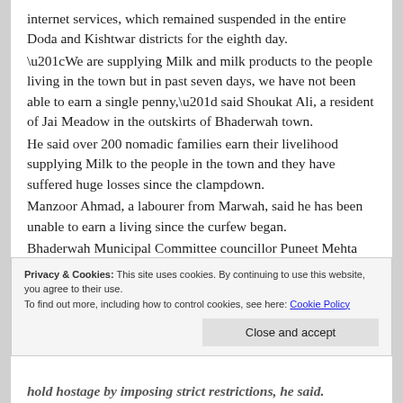internet services, which remained suspended in the entire Doda and Kishtwar districts for the eighth day. “We are supplying Milk and milk products to the people living in the town but in past seven days, we have not been able to earn a single penny,” said Shoukat Ali, a resident of Jai Meadow in the outskirts of Bhaderwah town. He said over 200 nomadic families earn their livelihood supplying Milk to the people in the town and they have suffered huge losses since the clampdown. Manzoor Ahmad, a labourer from Marwah, said he has been unable to earn a living since the curfew began. Bhaderwah Municipal Committee councillor Puneet Mehta expressed his incredulity at the long curfew in the town,
Privacy & Cookies: This site uses cookies. By continuing to use this website, you agree to their use. To find out more, including how to control cookies, see here: Cookie Policy
Close and accept
hold hostage by imposing strict restrictions, he said.